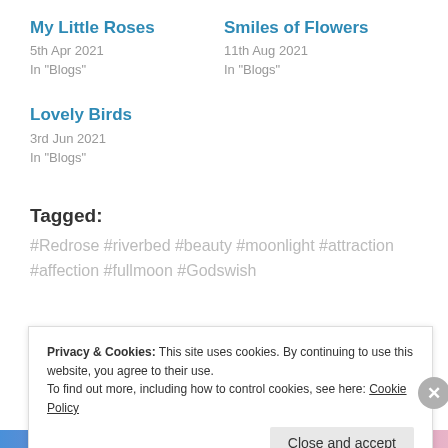My Little Roses
5th Apr 2021
In "Blogs"
Smiles of Flowers
11th Aug 2021
In "Blogs"
Lovely Birds
3rd Jun 2021
In "Blogs"
Tagged:
#Redrose #riverbed #beauty #moonlight #attraction #affection #fullmoon #Godswish
Privacy & Cookies: This site uses cookies. By continuing to use this website, you agree to their use.
To find out more, including how to control cookies, see here: Cookie Policy
Close and accept